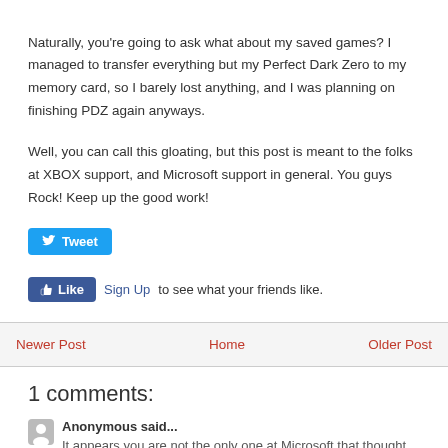Naturally, you're going to ask what about my saved games? I managed to transfer everything but my Perfect Dark Zero to my memory card, so I barely lost anything, and I was planning on finishing PDZ again anyways.
Well, you can call this gloating, but this post is meant to the folks at XBOX support, and Microsoft support in general. You guys Rock! Keep up the good work!
[Figure (screenshot): Twitter Tweet button (blue rounded rectangle with bird icon and 'Tweet' text)]
[Figure (screenshot): Facebook Like button (blue rectangle with thumbs up icon and 'Like' text) followed by 'Sign Up to see what your friends like.' text]
Newer Post | Home | Older Post navigation links
1 comments:
Anonymous said...
It appears you are not the only one at Microsoft that thought